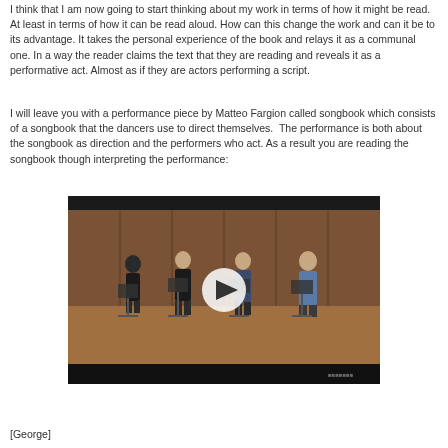I think that I am now going to start thinking about my work in terms of how it might be read. At least in terms of how it can be read aloud. How can this change the work and can it be to its advantage. It takes the personal experience of the book and relays it as a communal one. In a way the reader claims the text that they are reading and reveals it as a performative act. Almost as if they are actors performing a script.
I will leave you with a performance piece by Matteo Fargion called songbook which consists of a songbook that the dancers use to direct themselves. The performance is both about the songbook as direction and the performers who act. As a result you are reading the songbook though interpreting the performance:
[Figure (photo): Video thumbnail showing four performers standing at music stands on a stage with wooden walls, with a play button overlay in the center. A black bar appears at the bottom of the frame.]
[George]